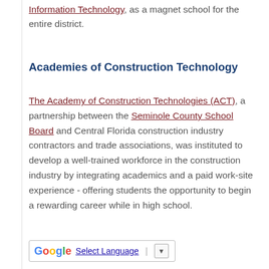Information Technology, as a magnet school for the entire district.
Academies of Construction Technology
The Academy of Construction Technologies (ACT), a partnership between the Seminole County School Board and Central Florida construction industry contractors and trade associations, was instituted to develop a well-trained workforce in the construction industry by integrating academics and a paid work-site experience - offering students the opportunity to begin a rewarding career while in high school.
Select Language